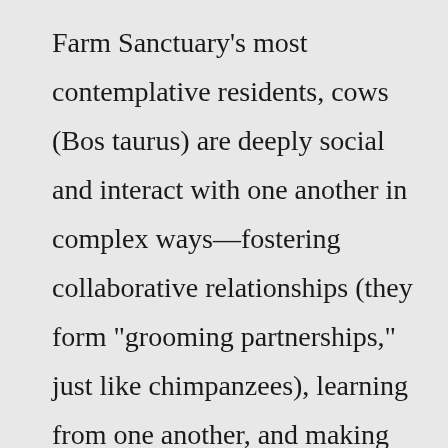Farm Sanctuary's most contemplative residents, cows (Bos taurus) are deeply social and interact with one another in complex ways—fostering collaborative relationships (they form "grooming partnerships," just like chimpanzees), learning from one another, and making decisions that benefit other members of the ...Domestic Animals are either Livestock or Breeding animals. All of the baby animals,